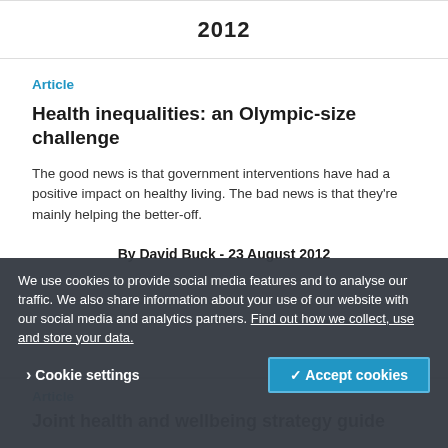2012
Article
Health inequalities: an Olympic-size challenge
The good news is that government interventions have had a positive impact on healthy living. The bad news is that they're mainly helping the better-off.
By David Buck - 23 August 2012
Article
Joint health and wellbeing strategy guide
The King's Fund has contributed to a series of products for health and wellbeing boards, including a strategy guide, self assessment toolkit and briefings.
We use cookies to provide social media features and to analyse our traffic. We also share information about your use of our website with our social media and analytics partners. Find out how we collect, use and store your data.